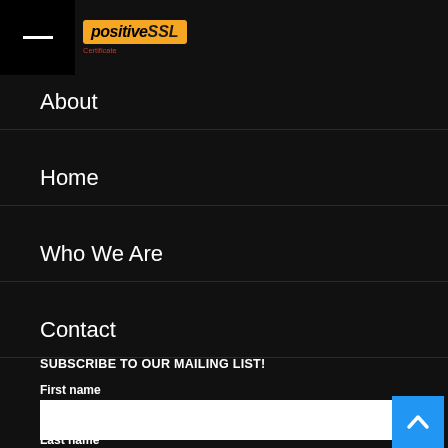[Figure (logo): Website logo with orange/yellow branding text and 'Certificate' subtitle in red]
About
Home
Who We Are
Contact
SUBSCRIBE TO OUR MAILING LIST!
First name
Last name
[Figure (other): Back to top button - blue square with white upward chevron arrow]